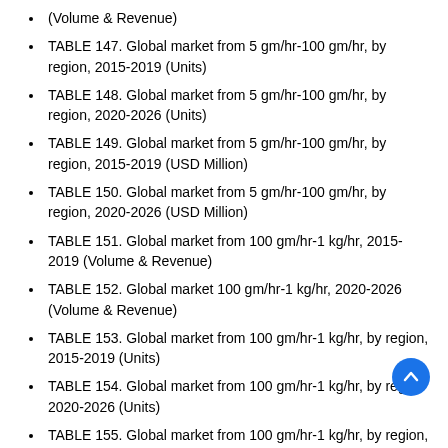(Volume & Revenue)
TABLE 147. Global market from 5 gm/hr-100 gm/hr, by region, 2015-2019 (Units)
TABLE 148. Global market from 5 gm/hr-100 gm/hr, by region, 2020-2026 (Units)
TABLE 149. Global market from 5 gm/hr-100 gm/hr, by region, 2015-2019 (USD Million)
TABLE 150. Global market from 5 gm/hr-100 gm/hr, by region, 2020-2026 (USD Million)
TABLE 151. Global market from 100 gm/hr-1 kg/hr, 2015-2019 (Volume & Revenue)
TABLE 152. Global market 100 gm/hr-1 kg/hr, 2020-2026 (Volume & Revenue)
TABLE 153. Global market from 100 gm/hr-1 kg/hr, by region, 2015-2019 (Units)
TABLE 154. Global market from 100 gm/hr-1 kg/hr, by region, 2020-2026 (Units)
TABLE 155. Global market from 100 gm/hr-1 kg/hr, by region, 2015-2019 (USD Million)
TABLE 156. Global market from 100 gm/hr-1 kg/hr, by region,